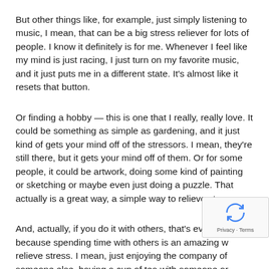But other things like, for example, just simply listening to music, I mean, that can be a big stress reliever for lots of people. I know it definitely is for me. Whenever I feel like my mind is just racing, I just turn on my favorite music, and it just puts me in a different state. It's almost like it resets that button.
Or finding a hobby — this is one that I really, really love. It could be something as simple as gardening, and it just kind of gets your mind off of the stressors. I mean, they're still there, but it gets your mind off of them. Or for some people, it could be artwork, doing some kind of painting or sketching or maybe even just doing a puzzle. That actually is a great way, a simple way to relieve stress.
And, actually, if you do it with others, that's even be... because spending time with others is an amazing w... relieve stress. I mean, just enjoying the company of someone else, having a cup of tea with someone or going...
[Figure (other): reCAPTCHA widget with recycle-arrows icon and Privacy · Terms text]